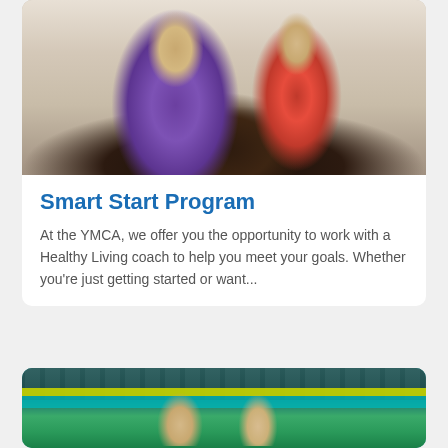[Figure (photo): Two older adults seated in chairs doing a group exercise class at a YMCA. One person wears a purple t-shirt, the other wears a red jacket. Others are visible in the background.]
Smart Start Program
At the YMCA, we offer you the opportunity to work with a Healthy Living coach to help you meet your goals. Whether you're just getting started or want...
[Figure (photo): Two smiling young women standing in a gym/fitness center with exercise equipment behind them. The room has teal and yellow-green striped walls and various cardio machines. A sign reading 'FIVE' is partially visible in the background.]